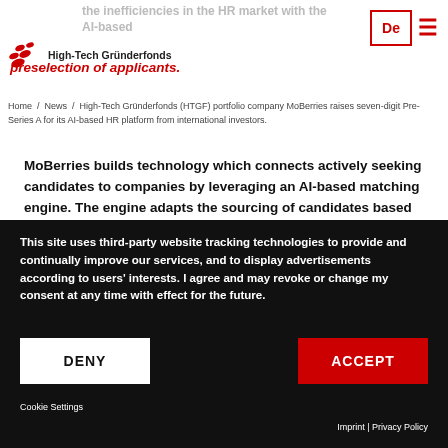[Figure (logo): High-Tech Gründerfonds logo with red dots and text]
the inefficiencies in the HR market with the AI-based... preselection of applicants.
Home / News / High-Tech Gründerfonds (HTGF) portfolio company MoBerries raises seven-digit Pre-Series A for its AI-based HR platform from international investors.
MoBerries builds technology which connects actively seeking candidates to companies by leveraging an AI-based matching engine. The engine adapts the sourcing of candidates based on the feedback generated by recruitment managers throughout the hiring process. In Germany, MoBerries is already being utilized by over 1.000 companies.
The technology leverages network effects in order to enable the
This site uses third-party website tracking technologies to provide and continually improve our services, and to display advertisements according to users' interests. I agree and may revoke or change my consent at any time with effect for the future.
DENY
ACCEPT
Cookie Settings
Imprint | Privacy Policy